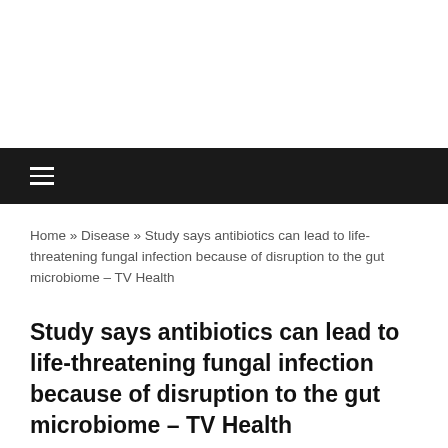Home » Disease » Study says antibiotics can lead to life-threatening fungal infection because of disruption to the gut microbiome – TV Health
Study says antibiotics can lead to life-threatening fungal infection because of disruption to the gut microbiome – TV Health